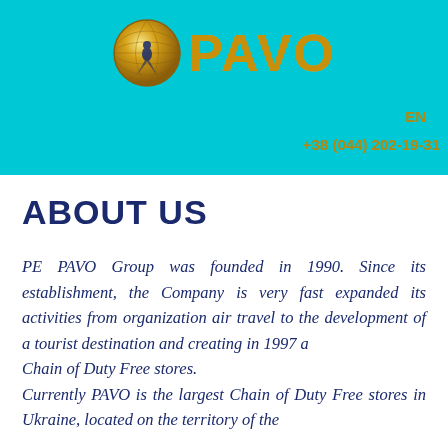[Figure (logo): PAVO company logo with golden peacock globe icon and gold text 'PAVO' on cyan background]
EN
+38 (044) 202-19-31
ABOUT US
PE PAVO Group was founded in 1990. Since its establishment, the Company is very fast expanded its activities from organization air travel to the development of a tourist destination and creating in 1997 a
Chain of Duty Free stores.
Currently PAVO is the largest Chain of Duty Free stores in Ukraine, located on the territory of the